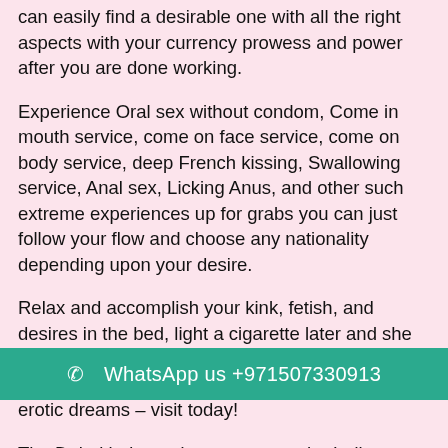can easily find a desirable one with all the right aspects with your currency prowess and power after you are done working.
Experience Oral sex without condom, Come in mouth service, come on face service, come on body service, deep French kissing, Swallowing service, Anal sex, Licking Anus, and other such extreme experiences up for grabs you can just follow your flow and choose any nationality depending upon your desire.
Relax and accomplish your kink, fetish, and desires in the bed, light a cigarette later and she won't mind. Respectful and obedient Dubai escorts for your service! Give life to your most erotic dreams – visit today!
The Dubai independent escorts or the Indian escorts in Dubai belong to the elite class and they are in this profession for years which means that they have the knowledge of all aspects. The Dubai escorts are mostly models, colle... aged girls that are not only beautiful but also have the
WhatsApp us +971507330913